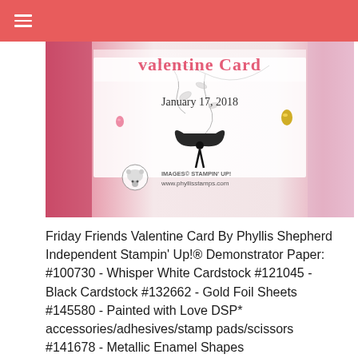☰
[Figure (photo): A Valentine card craft photo showing floral/vine stamp designs with jewel embellishments on white cardstock, with pink ribbon and glitter elements. Overlaid text reads 'valentine Card', 'January 17, 2018', and watermark 'IMAGES© STAMPIN' UP! www.phyllisstamps.com']
Friday Friends Valentine Card By Phyllis Shepherd Independent Stampin' Up!® Demonstrator Paper: #100730 - Whisper White Cardstock #121045 - Black Cardstock #132662 - Gold Foil Sheets #145580 - Painted with Love DSP* accessories/adhesives/stamp pads/scissors #141678 - Metallic Enamel Shapes